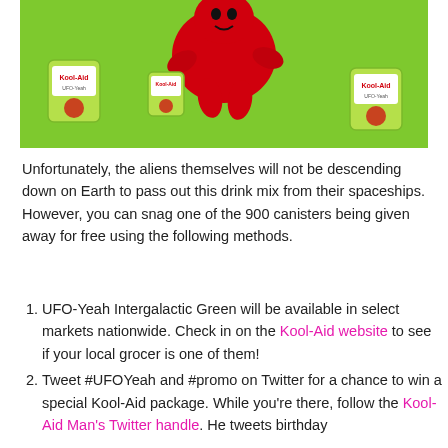[Figure (illustration): Cartoon illustration of a red alien character juggling/tossing a Kool-Aid green canister, with two Kool-Aid canisters on either side, all on a bright green background.]
Unfortunately, the aliens themselves will not be descending down on Earth to pass out this drink mix from their spaceships. However, you can snag one of the 900 canisters being given away for free using the following methods.
UFO-Yeah Intergalactic Green will be available in select markets nationwide. Check in on the Kool-Aid website to see if your local grocer is one of them!
Tweet #UFOYeah and #promo on Twitter for a chance to win a special Kool-Aid package. While you're there, follow the Kool-Aid Man's Twitter handle. He tweets birthday